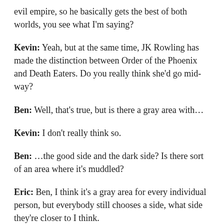evil empire, so he basically gets the best of both worlds, you see what I'm saying?
Kevin: Yeah, but at the same time, JK Rowling has made the distinction between Order of the Phoenix and Death Eaters. Do you really think she'd go mid-way?
Ben: Well, that's true, but is there a gray area with…
Kevin: I don't really think so.
Ben: …the good side and the dark side? Is there sort of an area where it's muddled?
Eric: Ben, I think it's a gray area for every individual person, but everybody still chooses a side, what side they're closer to I think.